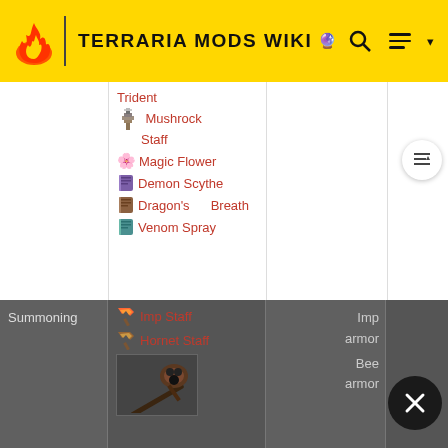TERRARIA MODS WIKI
|  | Weapons | Armor |  |
| --- | --- | --- | --- |
|  | Trident |  |  |
|  | Mushrock Staff |  |  |
|  | Magic Flower |  |  |
|  | Demon Scythe |  |  |
|  | Dragon's Breath |  |  |
|  | Venom Spray |  |  |
| Summoning | Imp Staff
Hornet Staff | Imp armor
Bee armor |  |